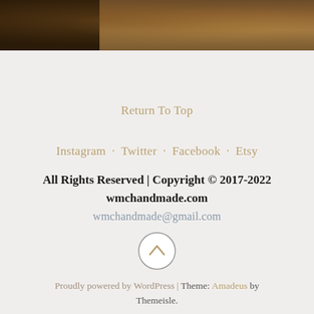[Figure (photo): Partial view of a wooden surface/table texture, dark brown tones, shown as a horizontal strip at the top of the page]
Return To Top
Instagram · Twitter · Facebook · Etsy
All Rights Reserved | Copyright © 2017-2022
wmchandmade.com
wmchandmade@gmail.com
[Figure (other): Circular scroll-to-top button with an upward chevron arrow icon]
Proudly powered by WordPress | Theme: Amadeus by Themeisle.